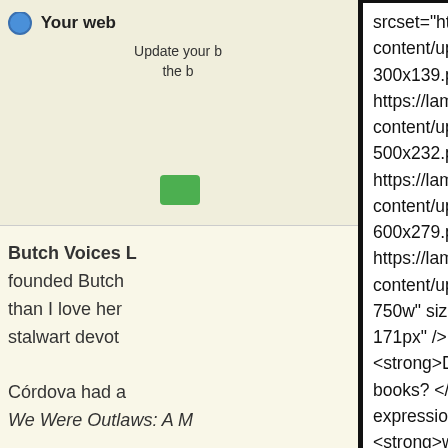Your web... Update your b... the b...
Butch Voices L... founded Butch... than I love her... stalwart devot...
Córdova had a...
We Were Outlaws: A M...
regret in know... cancer recurre... ill to do so and... final illness to l... lesbian erasure...
srcset="https://lambdaliterary.org/wp-content/uploads/2014/11/Lambda-Logo-300x139.png 300w, https://lambdaliterary.org/wp-content/uploads/2014/11/Lambda-Logo-500x232.png 500w, https://lambdaliterary.org/wp-content/uploads/2014/11/Lambda-Logo-600x279.png 600w, https://lambdaliterary.org/wp-content/uploads/2014/11/Lambda-Logo.png 750w" sizes="(max-width: 171px) 100vw, 171px" /> </p> <p style="text-align: center;"> <strong>Do you believe in the power of queer books? </strong> <strong>Support free expression and queer creativity </strong> <strong>with a donation to Lambda Literary today.</strong> <br /> <strong><a href="https://lambdaliterary.org/donate":> HERE</a></strong></p>